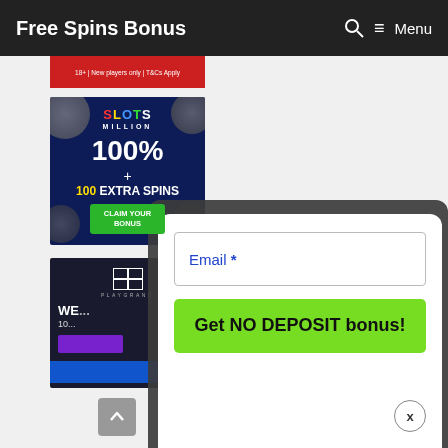Free Spins Bonus  🔍 ≡ Menu
[Figure (screenshot): Red banner ad with white text '18+ | New players only | T&Cs Apply']
[Figure (screenshot): Slots Million casino ad: dark blue background, '100% + 100 EXTRA SPINS', green 'CLAIM YOUR BONUS' button]
[Figure (screenshot): Playgrand casino ad: dark background with logo, partial 'WE' text visible, purple and blue bars]
[Figure (screenshot): Popup modal over dark background: Email * input field and green 'Get NO DEPOSIT bonus!' button with 'x' close button]